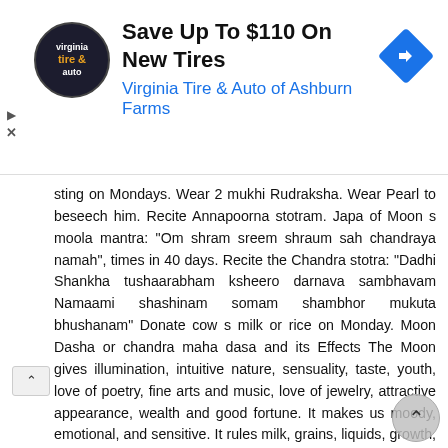[Figure (advertisement): Virginia Tire & Auto advertisement banner: 'Save Up To $110 On New Tires' with logo circle on left and blue navigation arrow icon on right. Subtitle: 'Virginia Tire & Auto of Ashburn Farms' in blue.]
sting on Mondays. Wear 2 mukhi Rudraksha. Wear Pearl to beseech him. Recite Annapoorna stotram. Japa of Moon s moola mantra: "Om shram sreem shraum sah chandraya namah", times in 40 days. Recite the Chandra stotra: "Dadhi Shankha tushaarabham ksheero darnava sambhavam Namaami shashinam somam shambhor mukuta bhushanam" Donate cow s milk or rice on Monday. Moon Dasha or chandra maha dasa and its Effects The Moon gives illumination, intuitive nature, sensuality, taste, youth, love of poetry, fine arts and music, love of jewelry, attractive appearance, wealth and good fortune. It makes us moody, emotional, and sensitive. It rules milk, grains, liquids, growth, fertility, impregnation, and conception. It influences the infant stage of an individual, which guides his behavior in the later in the later part of his life. It is cold and moist. It also influence childbirth and rules the left nostril, eyesight, the breasts, and the brain (memory). Moon influences travelers, human, fisherman, prostitutes, sooks